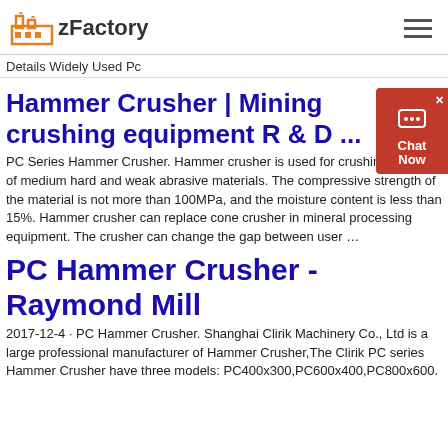zFactory
Details Widely Used Pc
Hammer Crusher | Mining crushing equipment R & D ...
PC Series Hammer Crusher. Hammer crusher is used for crushing all kinds of medium hard and weak abrasive materials. The compressive strength of the material is not more than 100MPa, and the moisture content is less than 15%. Hammer crusher can replace cone crusher in mineral processing equipment. The crusher can change the gap between user ...
PC Hammer Crusher - Raymond Mill
2017-12-4 · PC Hammer Crusher. Shanghai Clirik Machinery Co., Ltd is a large professional manufacturer of Hammer Crusher,The Clirik PC series Hammer Crusher have three models: PC400x300,PC600x400,PC800x600.